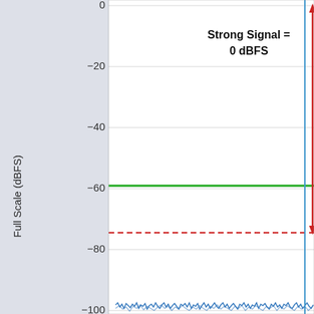[Figure (continuous-plot): Spectrum plot showing Full Scale (dBFS) on the y-axis from 0 to approximately -110 dBFS. A vertical blue line is near the right edge at a strong signal of 0 dBFS (peak at top). A vertical red double-headed arrow on the right shows the measurement span. A horizontal green line at approximately -65 dBFS. A horizontal red dashed line at approximately -82 dBFS. The noise floor (blue waveform) is around -100 dBFS. A text annotation reads 'Strong Signal = 0 dBFS' in the upper right area of the plot.]